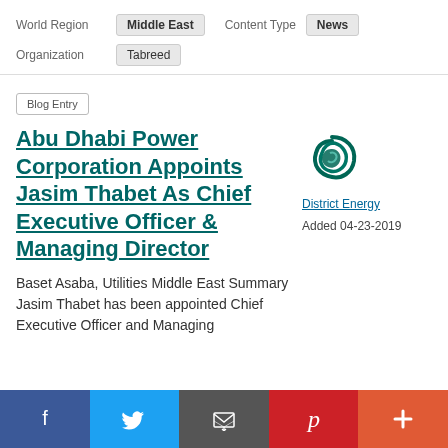World Region: Middle East   Content Type: News
Organization: Tabreed
Blog Entry
Abu Dhabi Power Corporation Appoints Jasim Thabet As Chief Executive Officer & Managing Director
Baset Asaba, Utilities Middle East Summary Jasim Thabet has been appointed Chief Executive Officer and Managing
District Energy
Added 04-23-2019
f  Twitter  Email  Pinterest  +